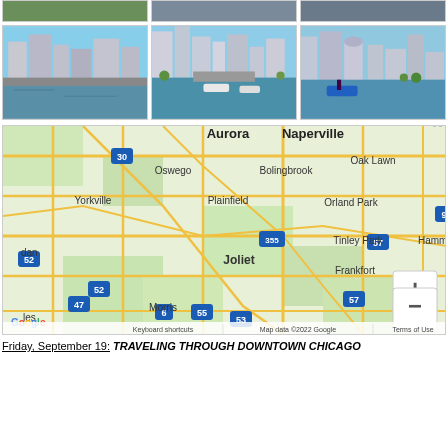[Figure (photo): Top row of three partially visible photos - park/outdoor scene, street scene, urban scene]
[Figure (photo): Three city/river photos of Chicago skyline and Chicago River with boats and bridges]
[Figure (map): Google Maps screenshot showing Chicago area including Aurora, Naperville, Joliet, Orland Park, Tinley Park, Frankfort, Morris, Oswego, Yorkville, Bolingbrook, Oak Lawn, Plainfield. Map data 2022 Google.]
Friday, September 19: TRAVELING THROUGH DOWNTOWN CHICAGO